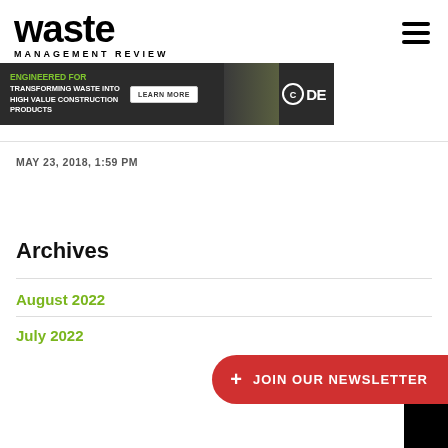waste MANAGEMENT REVIEW
[Figure (illustration): CDE advertisement banner: dark background with worker in hi-vis vest, text: ENGINEERED FOR TRANSFORMING WASTE INTO HIGH VALUE CONSTRUCTION PRODUCTS, LEARN MORE button, CDE logo]
MAY 23, 2018, 1:59 PM
Archives
August 2022
July 2022